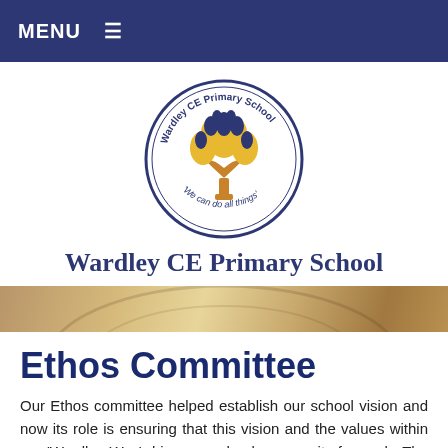MENU ☰
[Figure (logo): Wardley CE Primary School circular logo featuring a golden and blue tree with the motto 'We can do all things']
Wardley CE Primary School
Ethos Committee
Our Ethos committee helped establish our school vision and now its role is ensuring that this vision and the values within our 'Wardley Way' drive our school community forward.  The committee meets every